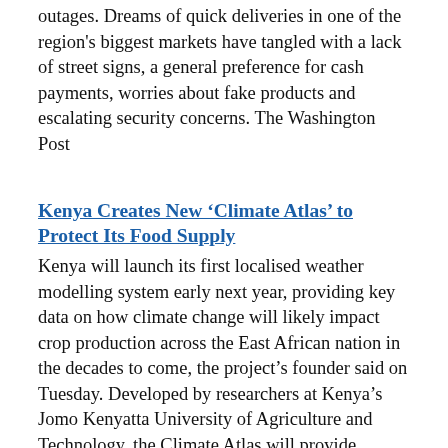outages. Dreams of quick deliveries in one of the region's biggest markets have tangled with a lack of street signs, a general preference for cash payments, worries about fake products and escalating security concerns. The Washington Post
Kenya Creates New ‘Climate Atlas’ to Protect Its Food Supply
Kenya will launch its first localised weather modelling system early next year, providing key data on how climate change will likely impact crop production across the East African nation in the decades to come, the project’s founder said on Tuesday. Developed by researchers at Kenya’s Jomo Kenyatta University of Agriculture and Technology, the Climate Atlas will provide projections on rainfall and temperature patterns across Kenya’s 47 counties from the year 2050 to 2100. John Wesonga, the lead developer of the web-based Climate Atlas platform, said there were co... global climate modelling systems available, but none provided localised data for Kenya over a long period. The